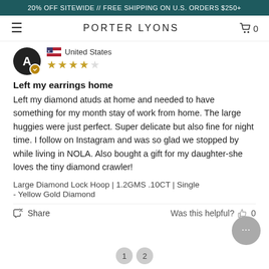20% OFF SITEWIDE // FREE SHIPPING ON U.S. ORDERS $250+
PORTER LYONS
United States
★★★★★ (4 out of 5 stars)
Left my earrings home
Left my diamond atuds at home and needed to have something for my month stay of work from home. The large huggies were just perfect. Super delicate but also fine for night time. I follow on Instagram and was so glad we stopped by while living in NOLA. Also bought a gift for my daughter-she loves the tiny diamond crawler!
Large Diamond Lock Hoop | 1.2GMS .10CT | Single
- Yellow Gold Diamond
Share   Was this helpful? 0